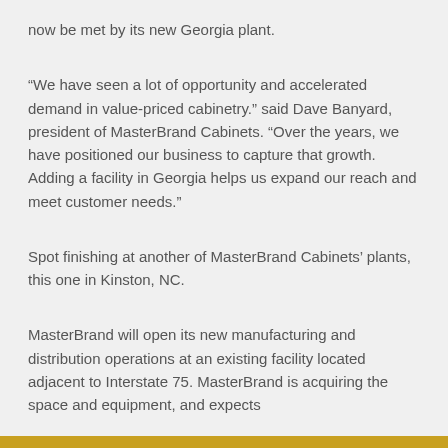now be met by its new Georgia plant.
“We have seen a lot of opportunity and accelerated demand in value-priced cabinetry.” said Dave Banyard, president of MasterBrand Cabinets. “Over the years, we have positioned our business to capture that growth. Adding a facility in Georgia helps us expand our reach and meet customer needs.”
Spot finishing at another of MasterBrand Cabinets’ plants, this one in Kinston, NC.
MasterBrand will open its new manufacturing and distribution operations at an existing facility located adjacent to Interstate 75. MasterBrand is acquiring the space and equipment, and expects